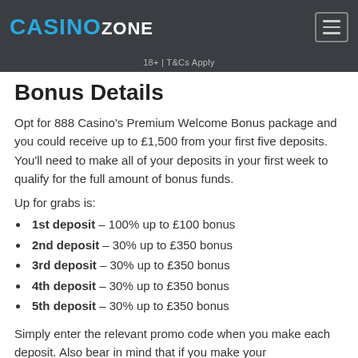CASINO ZONE
18+ | T&Cs Apply
Bonus Details
Opt for 888 Casino's Premium Welcome Bonus package and you could receive up to £1,500 from your first five deposits. You'll need to make all of your deposits in your first week to qualify for the full amount of bonus funds.
Up for grabs is:
1st deposit – 100% up to £100 bonus
2nd deposit – 30% up to £350 bonus
3rd deposit – 30% up to £350 bonus
4th deposit – 30% up to £350 bonus
5th deposit – 30% up to £350 bonus
Simply enter the relevant promo code when you make each deposit. Also bear in mind that if you make your